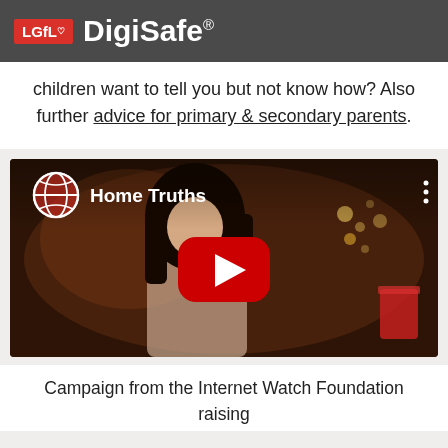LGfL DigiSafe®
children want to tell you but not know how? Also further advice for primary & secondary parents.
[Figure (screenshot): YouTube video embed titled 'Home Truths' showing a young girl in a dimly lit bedroom setting with a YouTube play button overlay]
Campaign from the Internet Watch Foundation raising